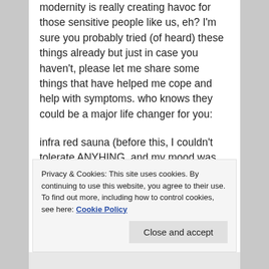modernity is really creating havoc for those sensitive people like us, eh? I'm sure you probably tried (of heard) these things already but just in case you haven't, please let me share some things that have helped me cope and help with symptoms. who knows they could be a major life changer for you:
infra red sauna (before this, I couldn't tolerate ANYHING, and my mood was much worse–but u have to be careful to keep your electrolytes up)
Privacy & Cookies: This site uses cookies. By continuing to use this website, you agree to their use.
To find out more, including how to control cookies, see here: Cookie Policy